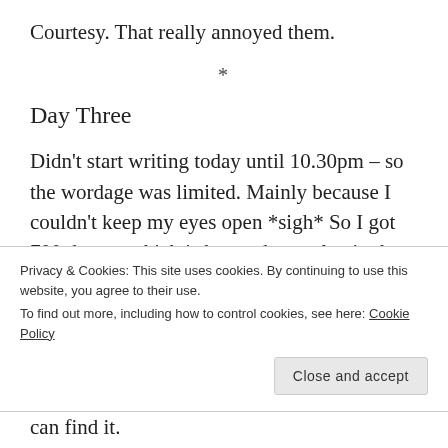Courtesy. That really annoyed them.
*
Day Three
Didn't start writing today until 10.30pm – so the wordage was limited. Mainly because I couldn't keep my eyes open *sigh* So I got 700 done – which is better than a slap in the face with a wet fish. Just. Hitting 4200. And today I got to introduce
Privacy & Cookies: This site uses cookies. By continuing to use this website, you agree to their use.
To find out more, including how to control cookies, see here: Cookie Policy
Close and accept
can find it.